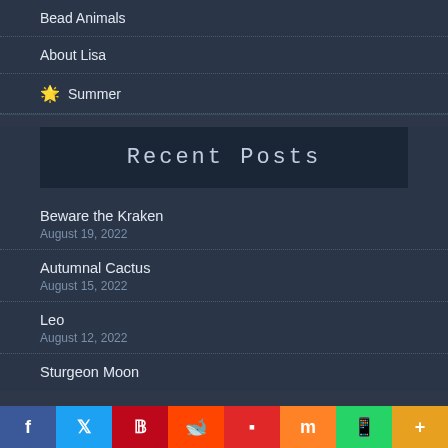Bead Animals
About Lisa
🌟 Summer
Recent Posts
Beware the Kraken
August 19, 2022
Autumnal Cactus
August 15, 2022
Leo
August 12, 2022
Sturgeon Moon
f | Twitter | P | Reddit | Flipboard | mix | WhatsApp | More